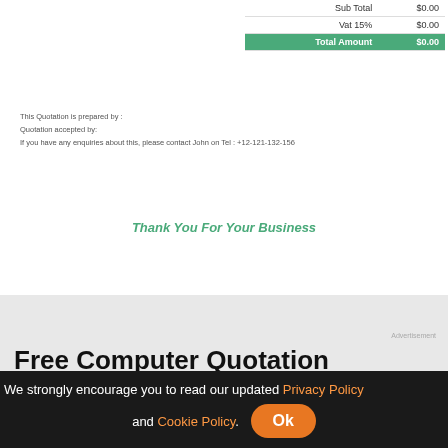|  |  |
| --- | --- |
| Sub Total | $0.00 |
| Vat 15% | $0.00 |
| Total Amount | $0.00 |
This Quotation is prepared by :
Quotation accepted by:
If you have any enquiries about this, please contact John on Tel : +12-121-132-156
Thank You For Your Business
Advertisement
Free Computer Quotation Quotations, Name quotes, Service
[Figure (screenshot): Screenshot of Microsoft Word 2007 interface with a blank document open]
We strongly encourage you to read our updated Privacy Policy and Cookie Policy. Ok